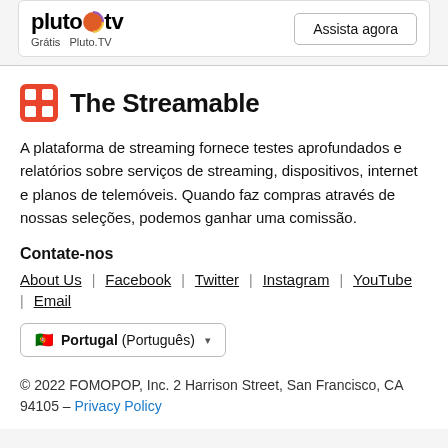[Figure (logo): Pluto TV logo with 'Grátis  Pluto.TV' subtitle and 'Assista agora' button]
[Figure (logo): The Streamable brand logo with orange grid icon]
A plataforma de streaming fornece testes aprofundados e relatórios sobre serviços de streaming, dispositivos, internet e planos de telemóveis. Quando faz compras através de nossas seleções, podemos ganhar uma comissão.
Contate-nos
About Us  Facebook  Twitter  Instagram  YouTube  Email
🇵🇹  Portugal (Português) ▾
© 2022 FOMOPOP, Inc. 2 Harrison Street, San Francisco, CA 94105 – Privacy Policy